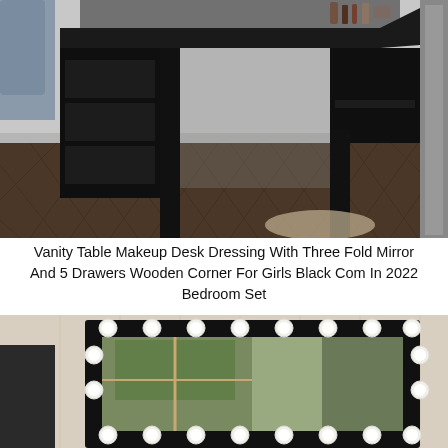[Figure (photo): Black corner vanity/dressing table with three drawers on the left side and open shelving on the right, topped with makeup items and mirrors, photographed in a bedroom with herringbone-pattern dark wood floors and gray walls.]
Vanity Table Makeup Desk Dressing With Three Fold Mirror And 5 Drawers Wooden Corner For Girls Black Com In 2022 Bedroom Set
[Figure (photo): A Hollywood-style rectangular mirror with a black frame and round white light bulbs along all four edges, reflecting a room with wood-paneled walls and greenery visible through a window, with a dark dresser partially visible on the left.]